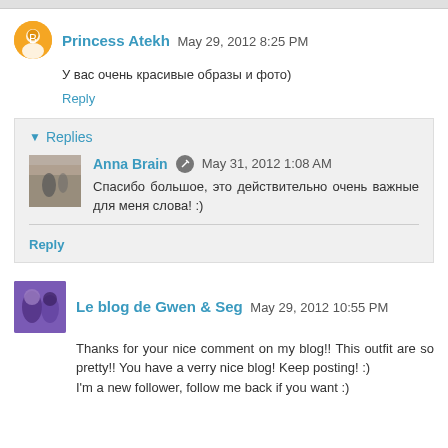Princess Atekh  May 29, 2012 8:25 PM
У вас очень красивые образы и фото)
Reply
Replies
Anna Brain  May 31, 2012 1:08 AM
Спасибо большое, это действительно очень важные для меня слова! :)
Reply
Le blog de Gwen & Seg  May 29, 2012 10:55 PM
Thanks for your nice comment on my blog!! This outfit are so pretty!! You have a verry nice blog! Keep posting! :)
I'm a new follower, follow me back if you want :)